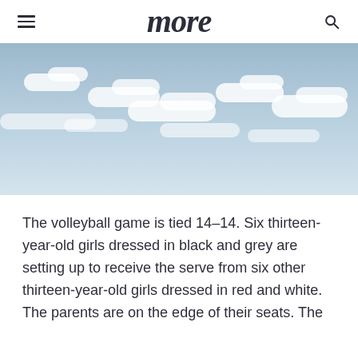more
[Figure (photo): Outdoor sky scene with blue sky and scattered white clouds]
The volleyball game is tied 14–14. Six thirteen-year-old girls dressed in black and grey are setting up to receive the serve from six other thirteen-year-old girls dressed in red and white. The parents are on the edge of their seats. The